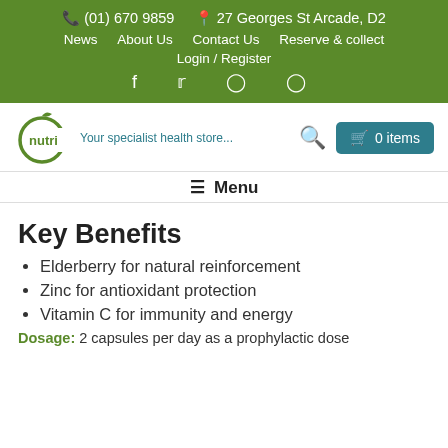(01) 670 9859  27 Georges St Arcade, D2  News  About Us  Contact Us  Reserve & collect  Login / Register
[Figure (logo): Nutri health store logo — green apple outline with leaf, brand name 'nutri' in green, tagline 'Your specialist health store...' in teal]
≡ Menu
Key Benefits
Elderberry for natural reinforcement
Zinc for antioxidant protection
Vitamin C for immunity and energy
Dosage: 2 capsules per day as a prophylactic dose